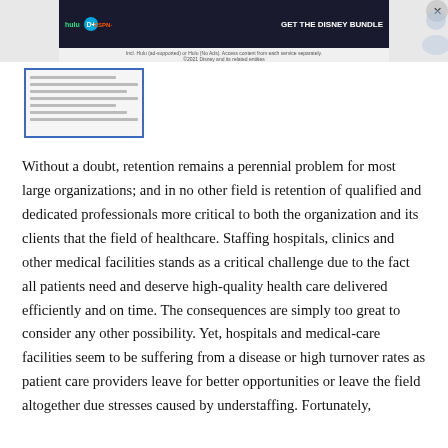[Figure (screenshot): Disney Bundle advertisement banner with Hulu, Disney+, ESPN+ logos and CTA 'GET THE DISNEY BUNDLE']
[Figure (screenshot): Thumbnail preview of a document page with small text lines]
Without a doubt, retention remains a perennial problem for most large organizations; and in no other field is retention of qualified and dedicated professionals more critical to both the organization and its clients that the field of healthcare. Staffing hospitals, clinics and other medical facilities stands as a critical challenge due to the fact all patients need and deserve high-quality health care delivered efficiently and on time. The consequences are simply too great to consider any other possibility. Yet, hospitals and medical-care facilities seem to be suffering from a disease or high turnover rates as patient care providers leave for better opportunities or leave the field altogether due stresses caused by understaffing. Fortunately,